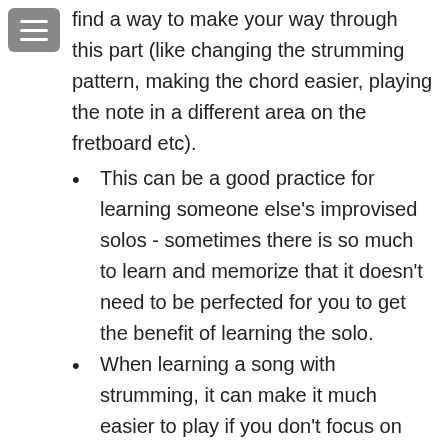find a way to make your way through this part (like changing the strumming pattern, making the chord easier, playing the note in a different area on the fretboard etc).
This can be a good practice for learning someone else's improvised solos - sometimes there is so much to learn and memorize that it doesn't need to be perfected for you to get the benefit of learning the solo.
When learning a song with strumming, it can make it much easier to play if you don't focus on making it exactly like the recording.
This approach makes it easier to memorize a number of songs in a short period of time -- for a gig, etc.
This works out well when you're covering a song in a band, if all members play their own approximation of